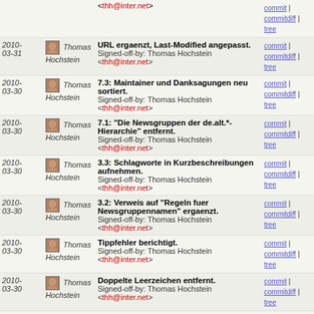| Date | Author | Message | Links |
| --- | --- | --- | --- |
|  |  | <thh@inter.net> | commit | commitdiff | tree |
| 2010-03-31 | Thomas Hochstein | URL ergaenzt, Last-Modified angepasst.
Signed-off-by: Thomas Hochstein <thh@inter.net> | commit | commitdiff | tree |
| 2010-03-30 | Thomas Hochstein | 7.3: Maintainer und Danksagungen neu sortiert.
Signed-off-by: Thomas Hochstein <thh@inter.net> | commit | commitdiff | tree |
| 2010-03-30 | Thomas Hochstein | 7.1: "Die Newsgruppen der de.alt.*-Hierarchie" entfernt.
Signed-off-by: Thomas Hochstein <thh@inter.net> | commit | commitdiff | tree |
| 2010-03-30 | Thomas Hochstein | 3.3: Schlagworte in Kurzbeschreibungen aufnehmen.
Signed-off-by: Thomas Hochstein <thh@inter.net> | commit | commitdiff | tree |
| 2010-03-30 | Thomas Hochstein | 3.2: Verweis auf "Regeln fuer Newsgruppennamen" ergaenzt.
Signed-off-by: Thomas Hochstein <thh@inter.net> | commit | commitdiff | tree |
| 2010-03-30 | Thomas Hochstein | Tippfehler berichtigt.
Signed-off-by: Thomas Hochstein <thh@inter.net> | commit | commitdiff | tree |
| 2010-03-30 | Thomas Hochstein | Doppelte Leerzeichen entfernt.
Signed-off-by: Thomas Hochstein <thh@inter.net> | commit | commitdiff | tree |
| 2010- | Thomas | Umformatierung, behutsame | commit | |